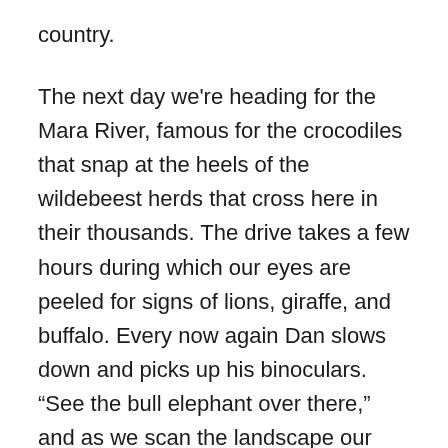country.
The next day we're heading for the Mara River, famous for the crocodiles that snap at the heels of the wildebeest herds that cross here in their thousands. The drive takes a few hours during which our eyes are peeled for signs of lions, giraffe, and buffalo. Every now again Dan slows down and picks up his binoculars. “See the bull elephant over there,” and as we scan the landscape our eyes finally settle on the magnificent animal.
It’s amazing how guides like Dan can spot animals while driving, including a cheetah, surely one of the most beautiful animals you’ll ever see. The female is sitting motionless behind a bush on a hill, watching a heard of gazelle in the valley below. All that’s visible is her head,